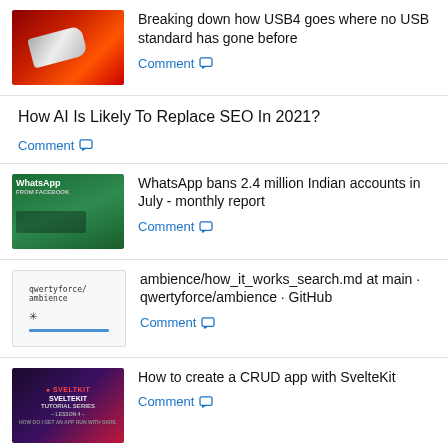Breaking down how USB4 goes where no USB standard has gone before
How AI Is Likely To Replace SEO In 2021?
WhatsApp bans 2.4 million Indian accounts in July - monthly report
ambience/how_it_works_search.md at main · qwertyforce/ambience · GitHub
How to create a CRUD app with SvelteKit
DALL-E Announce Feature That Allows You to Extend an Image Beyond Border